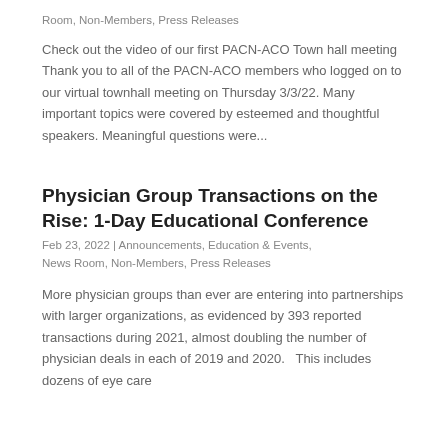Room, Non-Members, Press Releases
Check out the video of our first PACN-ACO Town hall meeting Thank you to all of the PACN-ACO members who logged on to our virtual townhall meeting on Thursday 3/3/22. Many important topics were covered by esteemed and thoughtful speakers. Meaningful questions were...
Physician Group Transactions on the Rise:  1-Day Educational Conference
Feb 23, 2022 | Announcements, Education & Events, News Room, Non-Members, Press Releases
More physician groups than ever are entering into partnerships with larger organizations, as evidenced by 393 reported transactions during 2021, almost doubling the number of physician deals in each of 2019 and 2020.   This includes dozens of eye care